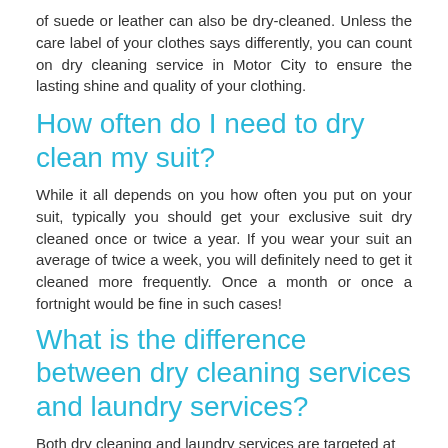of suede or leather can also be dry-cleaned. Unless the care label of your clothes says differently, you can count on dry cleaning service in Motor City to ensure the lasting shine and quality of your clothing.
How often do I need to dry clean my suit?
While it all depends on you how often you put on your suit, typically you should get your exclusive suit dry cleaned once or twice a year. If you wear your suit an average of twice a week, you will definitely need to get it cleaned more frequently. Once a month or once a fortnight would be fine in such cases!
What is the difference between dry cleaning services and laundry services?
Both dry cleaning and laundry services are targeted at